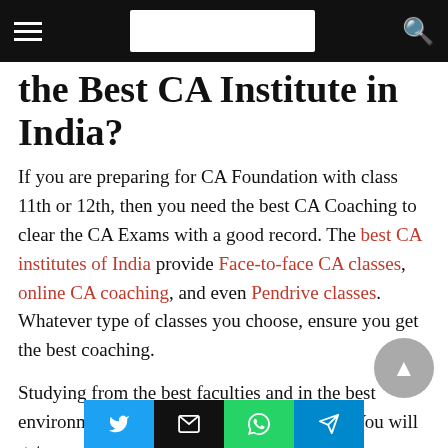Navigation bar with hamburger menu, logo, and search icon
the Best CA Institute in India?
If you are preparing for CA Foundation with class 11th or 12th, then you need the best CA Coaching to clear the CA Exams with a good record. The best CA institutes of India provide Face-to-face CA classes, online CA coaching, and even Pendrive classes. Whatever type of classes you choose, ensure you get the best coaching.
Studying from the best faculties and in the best environment will bring you the best results. You will get
Share buttons: Twitter, Email, WhatsApp, Telegram